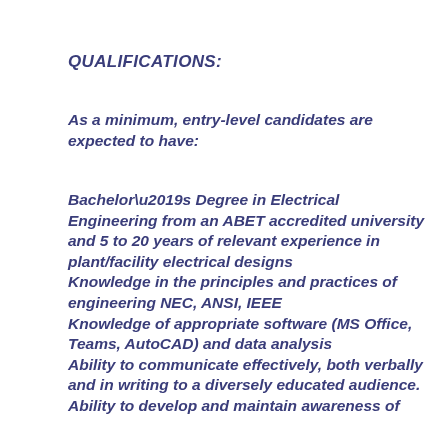QUALIFICATIONS:
As a minimum, entry-level candidates are expected to have:
Bachelor’s Degree in Electrical Engineering from an ABET accredited university and 5 to 20 years of relevant experience in plant/facility electrical designs
Knowledge in the principles and practices of engineering NEC, ANSI, IEEE
Knowledge of appropriate software (MS Office, Teams, AutoCAD) and data analysis
Ability to communicate effectively, both verbally and in writing to a diversely educated audience.
Ability to develop and maintain awareness of